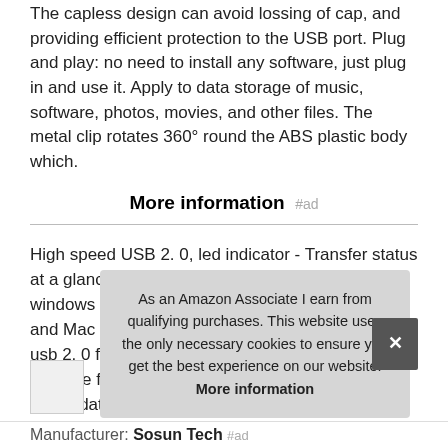The capless design can avoid lossing of cap, and providing efficient protection to the USB port. Plug and play: no need to install any software, just plug in and use it. Apply to data storage of music, software, photos, movies, and other files. The metal clip rotates 360° round the ABS plastic body which.
More information #ad
High speed USB 2. 0, led indicator - Transfer status at a glance. Compatibilty and interface: supports windows 7 / vista / xp / 2000 / me / 10 / 8 / nt linux and Mac OS. Great value package offer: 2 pack usb 2. 0 flash drive 16gB Available in Black Color. Suitable for all uses and data: suitable for storing digital data for school, business or daily usage. Compatible with
As an Amazon Associate I earn from qualifying purchases. This website uses the only necessary cookies to ensure you get the best experience on our website. More information
Manufacturer: Sosun Tech #ad